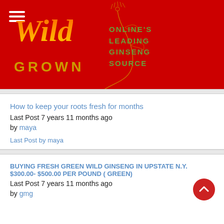[Figure (logo): Wild Grown ginseng website header logo on red background with hamburger menu, cursive Wild text in orange/gold, GROWN in gold letters, and tagline ONLINE'S LEADING GINSENG SOURCE in green, plus decorative ginseng root illustration]
How to keep your roots fresh for months
Last Post 7 years 11 months ago
by maya
Last Post by maya
BUYING FRESH GREEN WILD GINSENG IN UPSTATE N.Y. $300.00- $500.00 PER POUND ( GREEN)
Last Post 7 years 11 months ago
by gmg